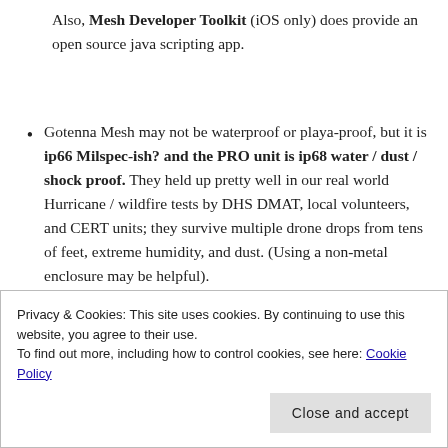Also, Mesh Developer Toolkit (iOS only) does provide an open source java scripting app.
Gotenna Mesh may not be waterproof or playa-proof, but it is ip66 Milspec-ish? and the PRO unit is ip68 water / dust / shock proof. They held up pretty well in our real world Hurricane / wildfire tests by DHS DMAT, local volunteers, and CERT units; they survive multiple drone drops from tens of feet, extreme humidity, and dust. (Using a non-metal enclosure may be helpful).
Privacy & Cookies: This site uses cookies. By continuing to use this website, you agree to their use. To find out more, including how to control cookies, see here: Cookie Policy